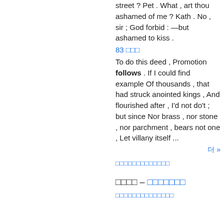street ? Pet . What , art thou ashamed of me ? Kath . No , sir ; God forbid : —but ashamed to kiss .
83
To do this deed , Promotion follows . If I could find example Of thousands , that had struck anointed kings , And flourished after , I'd not do't ; but since Nor brass , nor stone , nor parchment , bears not one , Let villany itself ...
더 »
도서 검색결과 모두보기
학술 검색 - 검색결과 모두
학술 검색결과 모두보기